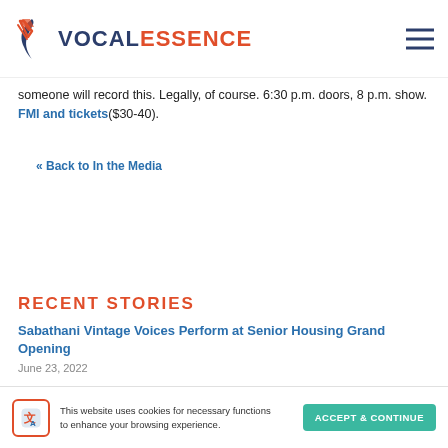VOCALESSENCE
someone will record this. Legally, of course. 6:30 p.m. doors, 8 p.m. show. FMI and tickets($30-40).
« Back to In the Media
RECENT STORIES
Sabathani Vintage Voices Perform at Senior Housing Grand Opening
June 23, 2022
This website uses cookies for necessary functions to enhance your browsing experience. ACCEPT & CONTINUE